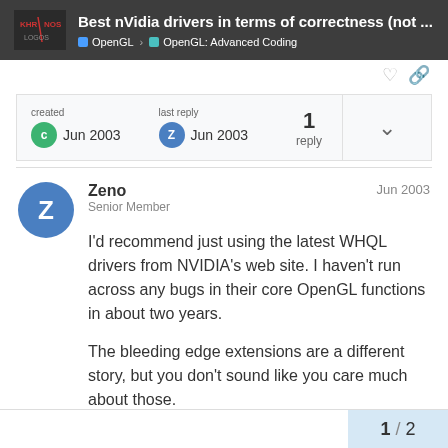Best nVidia drivers in terms of correctness (not ... | OpenGL | OpenGL: Advanced Coding
created Jun 2003 | last reply Jun 2003 | 1 reply
Zeno
Senior Member
Jun 2003

I'd recommend just using the latest WHQL drivers from NVIDIA's web site. I haven't run across any bugs in their core OpenGL functions in about two years.

The bleeding edge extensions are a different story, but you don't sound like you care much about those.
1 / 2